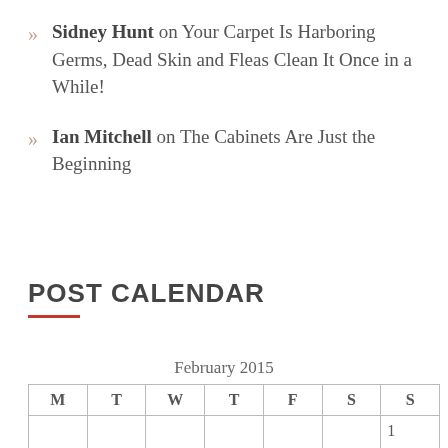Sidney Hunt on Your Carpet Is Harboring Germs, Dead Skin and Fleas Clean It Once in a While!
Ian Mitchell on The Cabinets Are Just the Beginning
POST CALENDAR
February 2015
| M | T | W | T | F | S | S |
| --- | --- | --- | --- | --- | --- | --- |
|  |  |  |  |  |  | 1 |
| 2 | 3 | 4 | 5 | 6 | 7 | 8 |